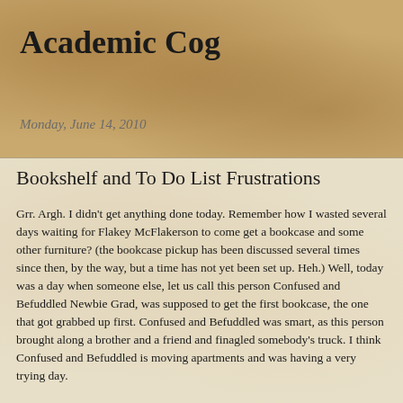Academic Cog
Monday, June 14, 2010
Bookshelf and To Do List Frustrations
Grr. Argh. I didn't get anything done today. Remember how I wasted several days waiting for Flakey McFlakerson to come get a bookcase and some other furniture? (the bookcase pickup has been discussed several times since then, by the way, but a time has not yet been set up. Heh.) Well, today was a day when someone else, let us call this person Confused and Befuddled Newbie Grad, was supposed to get the first bookcase, the one that got grabbed up first. Confused and Befuddled was smart, as this person brought along a brother and a friend and finagled somebody's truck. I think Confused and Befuddled is moving apartments and was having a very trying day.